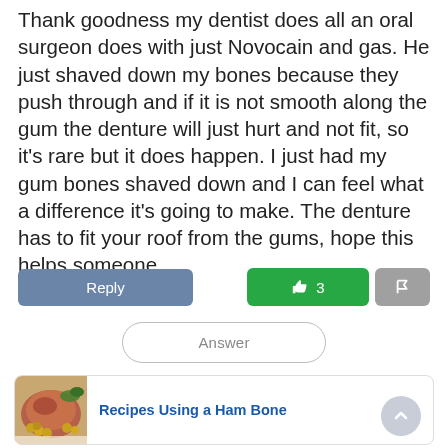Thank goodness my dentist does all an oral surgeon does with just Novocain and gas. He just shaved down my bones because they push through and if it is not smooth along the gum the denture will just hurt and not fit, so it's rare but it does happen. I just had my gum bones shaved down and I can feel what a difference it's going to make. The denture has to fit your roof from the gums, hope this helps someone.
Reply | 👍 3 | 🚩
Answer
[Figure (photo): Photo of a ham with vegetables]
Recipes Using a Ham Bone